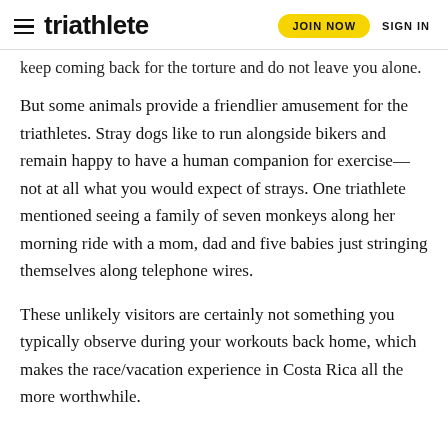triathlete | JOIN NOW | SIGN IN
keep coming back for the torture and do not leave you alone.
But some animals provide a friendlier amusement for the triathletes. Stray dogs like to run alongside bikers and remain happy to have a human companion for exercise—not at all what you would expect of strays. One triathlete mentioned seeing a family of seven monkeys along her morning ride with a mom, dad and five babies just stringing themselves along telephone wires.
These unlikely visitors are certainly not something you typically observe during your workouts back home, which makes the race/vacation experience in Costa Rica all the more worthwhile.